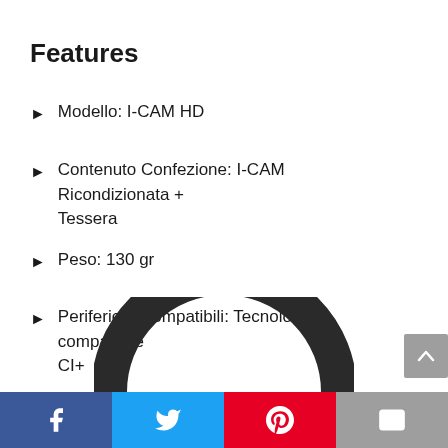Features
Modello: I-CAM HD
Contenuto Confezione: I-CAM Ricondizionata + Tessera
Peso: 130 gr
Periferiche compatibili: Tecnologia compatibile CI+
[Figure (photo): Partial view of a black circular/ring-shaped device (headphones or camera lens) visible at bottom center of page]
Facebook | Twitter | Pinterest | Email share buttons